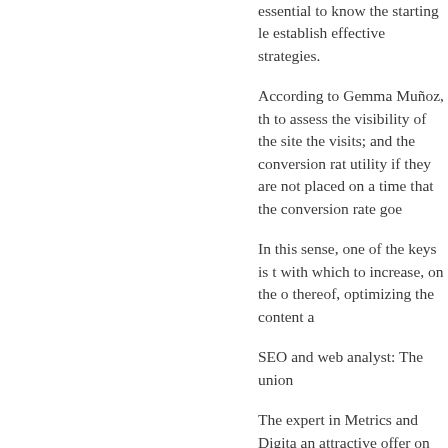essential to know the starting level to establish effective strategies.
According to Gemma Muñoz, the metrics to assess the visibility of the site; the visits; and the conversion rate lose utility if they are not placed on a timeline that the conversion rate goes.
In this sense, one of the keys is to with which to increase, on the one hand thereof, optimizing the content a
SEO and web analyst: The union
The expert in Metrics and Digital an attractive offer on the web with hand with those responsible for the visits (visibility) and, on the other SEOs and analysts, which is useful
Infographics, a rising value
Asked about the importance of W